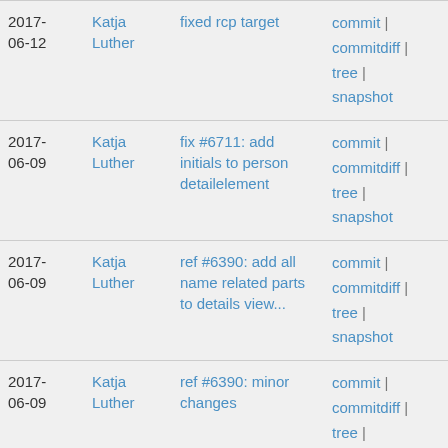| Date | Author | Message | Links |
| --- | --- | --- | --- |
| 2017-06-12 | Katja Luther | fixed rcp target | commit | commitdiff | tree | snapshot |
| 2017-06-09 | Katja Luther | fix #6711: add initials to person detailelement | commit | commitdiff | tree | snapshot |
| 2017-06-09 | Katja Luther | ref #6390: add all name related parts to details view... | commit | commitdiff | tree | snapshot |
| 2017-06-09 | Katja Luther | ref #6390: minor changes | commit | commitdiff | tree | snapshot |
| 2017-06-09 | Katja Luther | ref #6390: missed to commit the changes for NameEditor | commit | commitdiff | tree | snapshot |
| 2017-06-09 | Katja Luther | ref #6527: adapt delete operation to show up error... | commit | commitdiff |